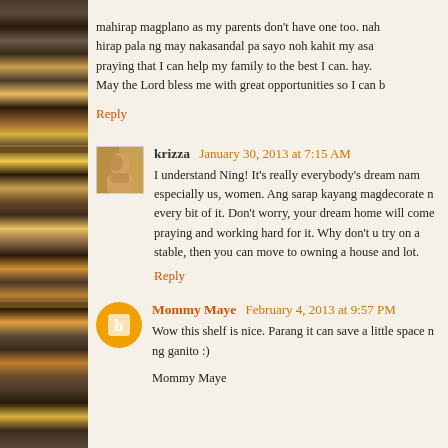mahirap magplano as my parents don't have one too. nah hirap pala ng may nakasandal pa sayo noh kahit my asa praying that I can help my family to the best I can. hay. May the Lord bless me with great opportunities so I can b
Reply
krizza  January 30, 2013 at 7:15 AM
I understand Ning! It's really everybody's dream nam especially us, women. Ang sarap kayang magdecorate n every bit of it. Don't worry, your dream home will come praying and working hard for it. Why don't u try on a stable, then you can move to owning a house and lot.
Reply
Mommy Maye  February 4, 2013 at 9:57 PM
Wow this shelf is nice. Parang it can save a little space ng ganito :)
Mommy Maye